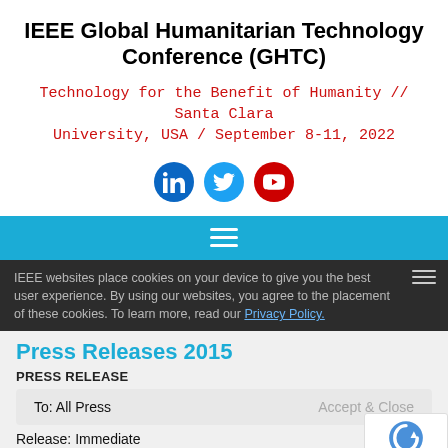IEEE Global Humanitarian Technology Conference (GHTC)
Technology for the Benefit of Humanity // Santa Clara University, USA / September 8-11, 2022
[Figure (illustration): Social media icons: LinkedIn (blue circle), Twitter (light blue circle), YouTube (red circle)]
[Figure (screenshot): Navigation bar with hamburger menu icon on cyan/blue background]
IEEE websites place cookies on your device to give you the best user experience. By using our websites, you agree to the placement of these cookies. To learn more, read our Privacy Policy.
Press Releases 2015
PRESS RELEASE
To: All Press
Accept & Close
Release: Immediate
Call for Participation PDF